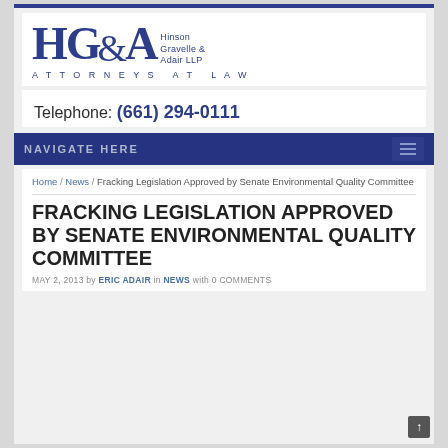[Figure (logo): HG&A Hinson Gravelle & Adair LLP Attorneys at Law logo in dark navy blue]
Telephone: (661) 294-0111
NAVIGATE HERE
Home / News / Fracking Legislation Approved by Senate Environmental Quality Committee
FRACKING LEGISLATION APPROVED BY SENATE ENVIRONMENTAL QUALITY COMMITTEE
MAY 2, 2013 by ERIC ADAIR in NEWS with 0 COMMENTS